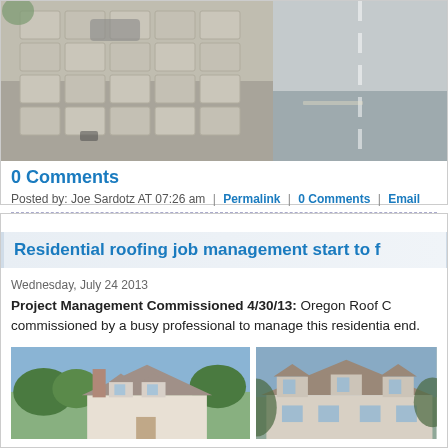[Figure (photo): Aerial or overhead view of a paved/stone driveway or roof surface with vehicles visible, partially cropped]
[Figure (photo): Aerial view of a street or road surface, partially cropped on the right side]
0 Comments
Posted by: Joe Sardotz AT 07:26 am  |  Permalink  |  0 Comments  |  Email
Residential roofing job management start to f
Wednesday, July 24 2013
Project Management Commissioned 4/30/13: Oregon Roof C commissioned by a busy professional to manage this residentia end.
[Figure (photo): House with residential roof, dormers, chimney, blue sky and trees in background]
[Figure (photo): Large house with multiple dormers and residential roof, trees visible in background]